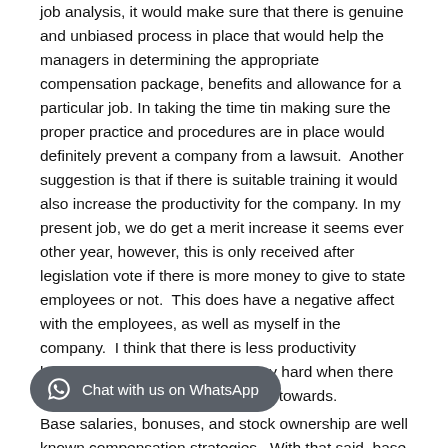job analysis, it would make sure that there is genuine and unbiased process in place that would help the managers in determining the appropriate compensation package, benefits and allowance for a particular job. In taking the time tin making sure the proper practice and procedures are in place would definitely prevent a company from a lawsuit.  Another suggestion is that if there is suitable training it would also increase the productivity for the company. In my present job, we do get a merit increase it seems ever other year, however, this is only received after legislation vote if there is more money to give to state employees or not.  This does have a negative affect with the employees, as well as myself in the company.  I think that there is less productivity because people feel why work any hard when there is nothing really rewarding to work towards.
Base salaries, bonuses, and stock ownership are well known compensation strategies.  With that said, base salary will always be the top of hiring and retention strategies, however with many companies this rarely attract or keep skill employees on base salaries alone.  The key is to leverage at least one compensations strategy that will motivate employees while aligning their behavior and job performance with the goals of the company